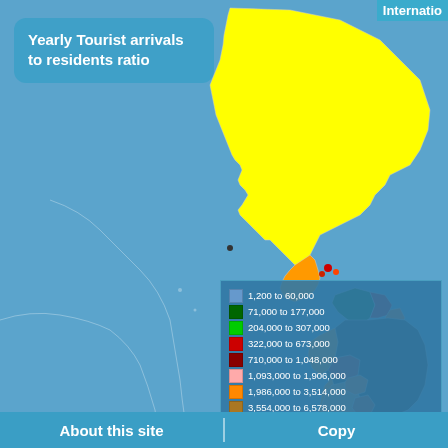Yearly Tourist arrivals to residents ratio
[Figure (map): World map showing yearly tourist arrivals data by country, with North America shown in yellow and South America in various shades of orange/brown/red. Background is light blue representing oceans. Countries are color-coded by tourist arrival ranges.]
1,200 to 60,000
71,000 to 177,000
204,000 to 307,000
322,000 to 673,000
710,000 to 1,048,000
1,093,000 to 1,906,000
1,986,000 to 3,514,000
3,554,000 to 6,578,000
6,732,000 to 11,680,000
13,578,000 to 83,013,000
created by: mecometer.com
Datasource: Workbank - Wor
About this site | Copy